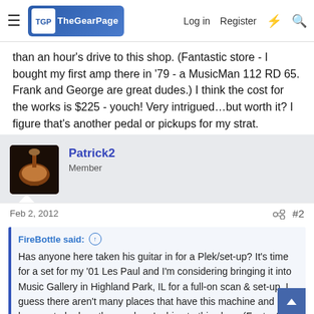The Gear Page — navigation bar with Log in, Register links
than an hour's drive to this shop. (Fantastic store - I bought my first amp there in '79 - a MusicMan 112 RD 65. Frank and George are great dudes.) I think the cost for the works is $225 - youch! Very intrigued…but worth it? I figure that's another pedal or pickups for my strat.
Patrick2
Member
Feb 2, 2012
#2
FireBottle said:
Has anyone here taken his guitar in for a Plek/set-up? It's time for a set for my '01 Les Paul and I'm considering bringing it into Music Gallery in Highland Park, IL for a full-on scan & set-up. I guess there aren't many places that have this machine and I happen to be less than an hour's drive to this shop. (Fantastic store - I bought my first amp there in '79 - a